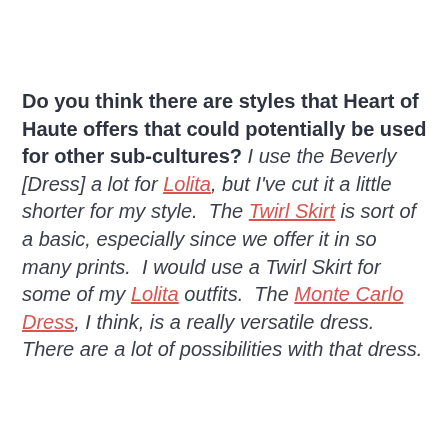Do you think there are styles that Heart of Haute offers that could potentially be used for other subcultures? I use the Beverly [Dress] a lot for Lolita, but I've cut it a little shorter for my style.  The Twirl Skirt is sort of a basic, especially since we offer it in so many prints.  I would use a Twirl Skirt for some of my Lolita outfits.  The Monte Carlo Dress, I think, is a really versatile dress.  There are a lot of possibilities with that dress.